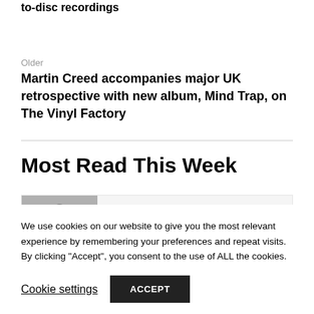to-disc recordings
Older
Martin Creed accompanies major UK retrospective with new album, Mind Trap, on The Vinyl Factory
Most Read This Week
[Figure (photo): Grayscale photo of people, used as thumbnail for article card]
This week: Fela, floorfillers, and
We use cookies on our website to give you the most relevant experience by remembering your preferences and repeat visits. By clicking "Accept", you consent to the use of ALL the cookies.
Cookie settings
ACCEPT